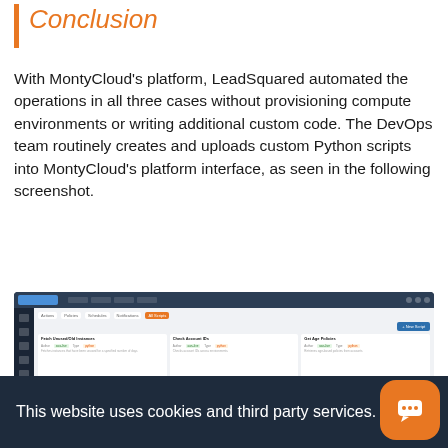Conclusion
With MontyCloud’s platform, LeadSquared automated the operations in all three cases without provisioning compute environments or writing additional custom code. The DevOps team routinely creates and uploads custom Python scripts into MontyCloud’s platform interface, as seen in the following screenshot.
[Figure (screenshot): Screenshot of MontyCloud platform interface showing a grid of script cards including items like 'Fetch Unused/Old Instances', 'Check Account IDs', 'Get Age Policies', 'Deactivation Stop/Start', 'Schedule Parser DRO Button', 'Quarry Demand DB EC2 Free Buy Snapshots' and more, each with Python labels and action buttons.]
This website uses cookies and third party services.